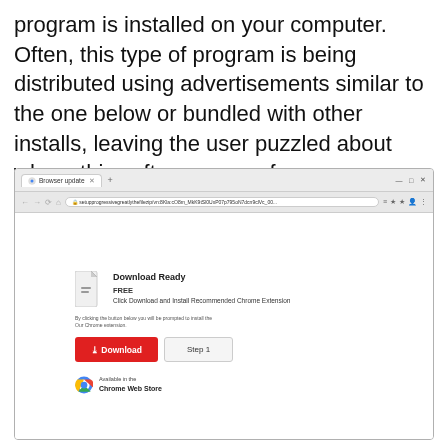program is installed on your computer. Often, this type of program is being distributed using advertisements similar to the one below or bundled with other installs, leaving the user puzzled about where this software came from.
[Figure (screenshot): A Google Chrome browser window showing a fake 'Browser update' tab with a download page. The page shows a file icon, 'Download Ready', 'FREE', 'Click Download and Install Recommended Chrome Extension', a red Download button, a Step 1 button, and a Chrome Web Store badge. The URL bar shows a suspicious URL.]